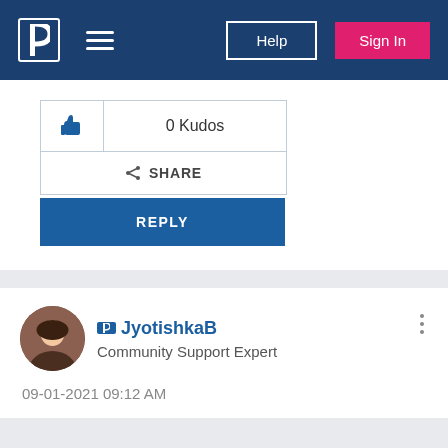Pandora community navigation bar with logo, hamburger menu, Help and Sign In buttons
[Figure (infographic): Kudos button showing 0 Kudos with thumbs up icon, Share button, and blue Reply button]
[Figure (photo): User profile section showing avatar photo of JyotishkaB with Community Support Expert role and date 09-01-2021 09:12 AM]